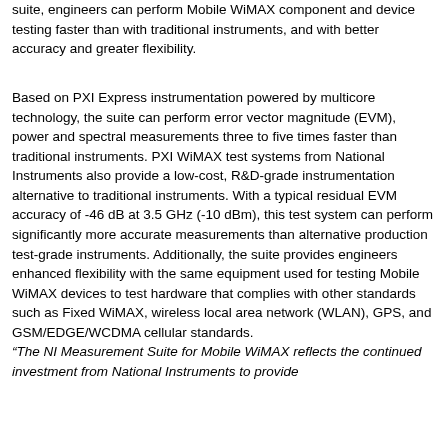suite, engineers can perform Mobile WiMAX component and device testing faster than with traditional instruments, and with better accuracy and greater flexibility.
Based on PXI Express instrumentation powered by multicore technology, the suite can perform error vector magnitude (EVM), power and spectral measurements three to five times faster than traditional instruments. PXI WiMAX test systems from National Instruments also provide a low-cost, R&D-grade instrumentation alternative to traditional instruments. With a typical residual EVM accuracy of -46 dB at 3.5 GHz (-10 dBm), this test system can perform significantly more accurate measurements than alternative production test-grade instruments. Additionally, the suite provides engineers enhanced flexibility with the same equipment used for testing Mobile WiMAX devices to test hardware that complies with other standards such as Fixed WiMAX, wireless local area network (WLAN), GPS, and GSM/EDGE/WCDMA cellular standards. “The NI Measurement Suite for Mobile WiMAX reflects the continued investment from National Instruments to provide